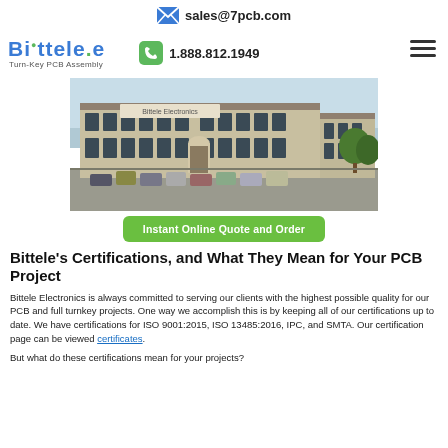sales@7pcb.com
[Figure (logo): Bittele Electronics logo with text Turn-Key PCB Assembly]
1.888.812.1949
[Figure (photo): Exterior photo of Bittele Electronics building with parking lot and cars]
Instant Online Quote and Order
Bittele's Certifications, and What They Mean for Your PCB Project
Bittele Electronics is always committed to serving our clients with the highest possible quality for our PCB and full turnkey projects. One way we accomplish this is by keeping all of our certifications up to date. We have certifications for ISO 9001:2015, ISO 13485:2016, IPC, and SMTA. Our certification page can be viewed certificates.
But what do these certifications mean for your projects?